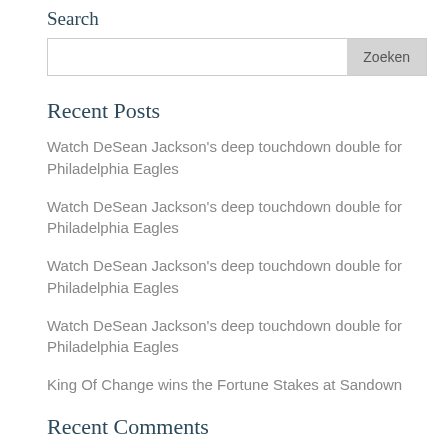Search
Watch DeSean Jackson's deep touchdown double for Philadelphia Eagles
Watch DeSean Jackson's deep touchdown double for Philadelphia Eagles
Watch DeSean Jackson's deep touchdown double for Philadelphia Eagles
Watch DeSean Jackson's deep touchdown double for Philadelphia Eagles
King Of Change wins the Fortune Stakes at Sandown
Recent Comments